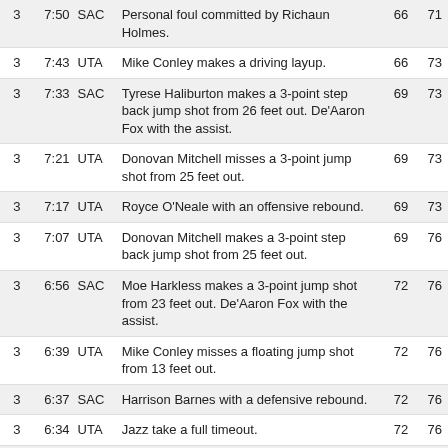| Qtr | Time | Team | Description | SAC | UTA |
| --- | --- | --- | --- | --- | --- |
| 3 | 7:50 | SAC | Personal foul committed by Richaun Holmes. | 66 | 71 |
| 3 | 7:43 | UTA | Mike Conley makes a driving layup. | 66 | 73 |
| 3 | 7:33 | SAC | Tyrese Haliburton makes a 3-point step back jump shot from 26 feet out. De'Aaron Fox with the assist. | 69 | 73 |
| 3 | 7:21 | UTA | Donovan Mitchell misses a 3-point jump shot from 25 feet out. | 69 | 73 |
| 3 | 7:17 | UTA | Royce O'Neale with an offensive rebound. | 69 | 73 |
| 3 | 7:07 | UTA | Donovan Mitchell makes a 3-point step back jump shot from 25 feet out. | 69 | 76 |
| 3 | 6:56 | SAC | Moe Harkless makes a 3-point jump shot from 23 feet out. De'Aaron Fox with the assist. | 72 | 76 |
| 3 | 6:39 | UTA | Mike Conley misses a floating jump shot from 13 feet out. | 72 | 76 |
| 3 | 6:37 | SAC | Harrison Barnes with a defensive rebound. | 72 | 76 |
| 3 | 6:34 | UTA | Jazz take a full timeout. | 72 | 76 |
| 3 | 6:34 | UTA | Substitution: Joe Ingles in for Mike Conley. | 72 | 76 |
| 3 | 6:34 | UTA | Substitution: Hassan Whiteside in for Rudy Gobert. | 72 | 76 |